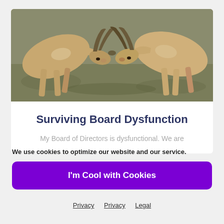[Figure (photo): Two gazelles or antelopes butting heads/horns together, photographed outdoors on grassy terrain.]
Surviving Board Dysfunction
My Board of Directors is dysfunctional. We are
We use cookies to optimize our website and our service.
I'm Cool with Cookies
Privacy  Privacy  Legal